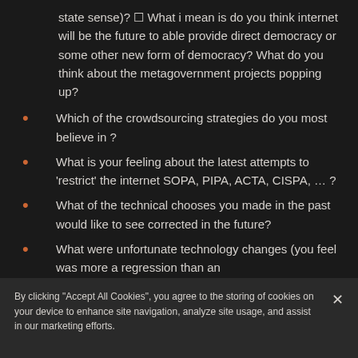state sense)? ☐ What i mean is do you think internet will be the future to able provide direct democracy or some other new form of democracy? What do you think about the metagovernment projects popping up?
Which of the crowdsourcing strategies do you most believe in ?
What is your feeling about the latest attempts to 'restrict' the internet SOPA, PIPA, ACTA, CISPA, … ?
What of the technical chooses you made in the past would like to see corrected in the future?
What were unfortunate technology changes (you feel was more a regression than an
By clicking "Accept All Cookies", you agree to the storing of cookies on your device to enhance site navigation, analyze site usage, and assist in our marketing efforts.